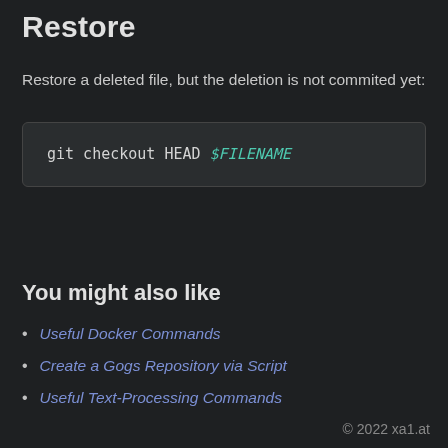Restore
Restore a deleted file, but the deletion is not commited yet:
You might also like
Useful Docker Commands
Create a Gogs Repository via Script
Useful Text-Processing Commands
© 2022 xa1.at